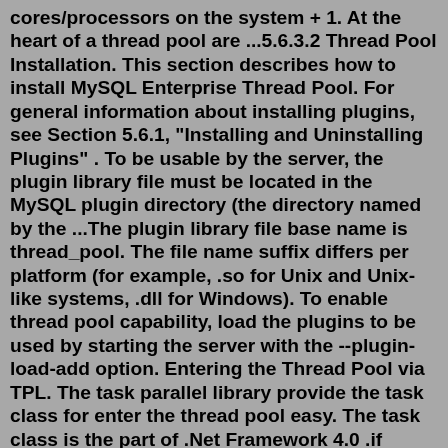cores/processors on the system + 1. At the heart of a thread pool are ...5.6.3.2 Thread Pool Installation. This section describes how to install MySQL Enterprise Thread Pool. For general information about installing plugins, see Section 5.6.1, "Installing and Uninstalling Plugins" . To be usable by the server, the plugin library file must be located in the MySQL plugin directory (the directory named by the ...The plugin library file base name is thread_pool. The file name suffix differs per platform (for example, .so for Unix and Unix-like systems, .dll for Windows). To enable thread pool capability, load the plugins to be used by starting the server with the --plugin-load-add option. Entering the Thread Pool via TPL. The task parallel library provide the task class for enter the thread pool easy. The task class is the part of .Net Framework 4.0 .if you're familiar with the older constructs, consider the nongeneric Task class a replacement for ThreadPool.QueueUserWorkItem, and the generic Task<TResult> a replacement for ...Aug 27, 2001 · The number of threads in the pool is